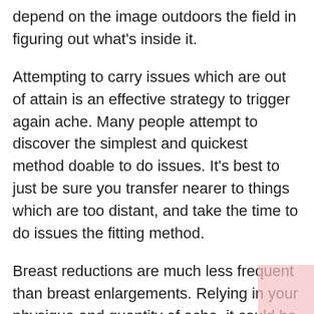depend on the image outdoors the field in figuring out what's inside it.
Attempting to carry issues which are out of attain is an effective strategy to trigger again ache. Many people attempt to discover the simplest and quickest method doable to do issues. It's best to just be sure you transfer nearer to things which are too distant, and take the time to do issues the fitting method.
Breast reductions are much less frequent than breast enlargements. Relying in your physique and quantity of ache, it could be value contemplating. Giant breasts can lead to again ache as a result of your muscle mass are always pressured to pressure with a purpose to